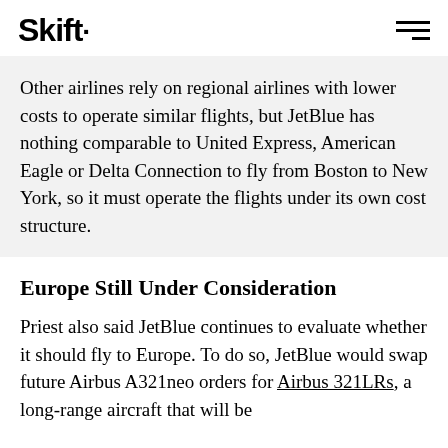Skift
Other airlines rely on regional airlines with lower costs to operate similar flights, but JetBlue has nothing comparable to United Express, American Eagle or Delta Connection to fly from Boston to New York, so it must operate the flights under its own cost structure.
Europe Still Under Consideration
Priest also said JetBlue continues to evaluate whether it should fly to Europe. To do so, JetBlue would swap future Airbus A321neo orders for Airbus 321LRs, a long-range aircraft that will be available in 2019. The A321LR would let…